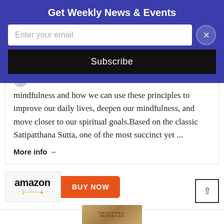Get Weekly News & Events
Enter your email
Subscribe
mindfulness and how we can use these principles to improve our daily lives, deepen our mindfulness, and move closer to our spiritual goals.Based on the classic Satipatthana Sutta, one of the most succinct yet ...
More info →
[Figure (logo): Amazon logo with orange swoosh arrow and BUY NOW orange button]
[Figure (illustration): Book cover preview showing 'THE NATIONAL BESTSELLER' text at top of a book]